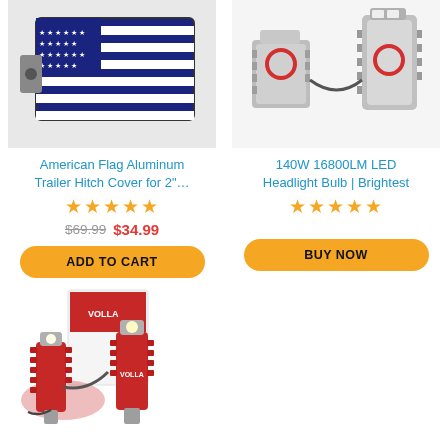[Figure (photo): American Flag Aluminum Trailer Hitch Cover product photo]
American Flag Aluminum Trailer Hitch Cover for 2"…
★★★★★
$69.99  $34.99
ADD TO CART
[Figure (photo): 140W 16800LM LED Headlight Bulb product photo]
140W 16800LM LED Headlight Bulb | Brightest
★★★★★
BUY NOW
[Figure (photo): Red LED headlight bulb set with box product photo]